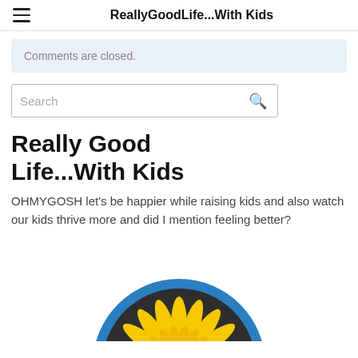ReallyGoodLife...With Kids
Comments are closed.
Search
Really Good Life...With Kids
OHMYGOSH let's be happier while raising kids and also watch our kids thrive more and did I mention feeling better?
[Figure (logo): Circular logo with dark background, blue ring border, and yellow/gold sunflower or shell-like petals radiating from the center.]